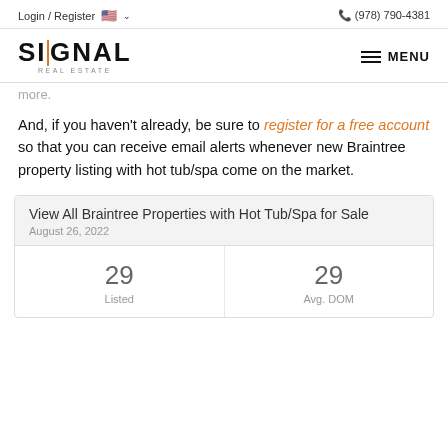Login / Register  🇺🇸 ∨   (978) 790-4381
[Figure (logo): Signal Real Estate logo with orange vertical bar in the I of SIGNAL]
more.
And, if you haven't already, be sure to register for a free account so that you can receive email alerts whenever new Braintree property listing with hot tub/spa come on the market.
| View All Braintree Properties with Hot Tub/Spa for Sale | August 26, 2022 |
| --- | --- |
| 29
Listed | 29
Avg. DOM |